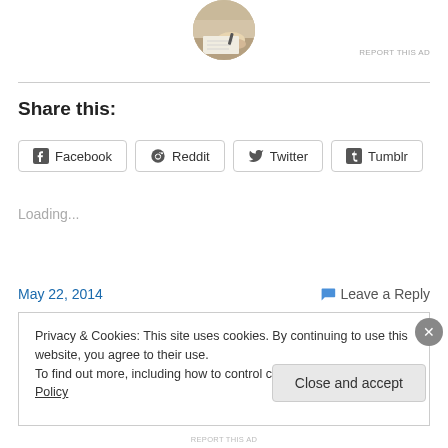[Figure (photo): Circular cropped photo of a person writing or working at a desk, shown from above/side angle]
REPORT THIS AD
Share this:
Facebook  Reddit  Twitter  Tumblr
Loading...
May 22, 2014
Leave a Reply
Privacy & Cookies: This site uses cookies. By continuing to use this website, you agree to their use.
To find out more, including how to control cookies, see here: Cookie Policy
Close and accept
REPORT THIS AD